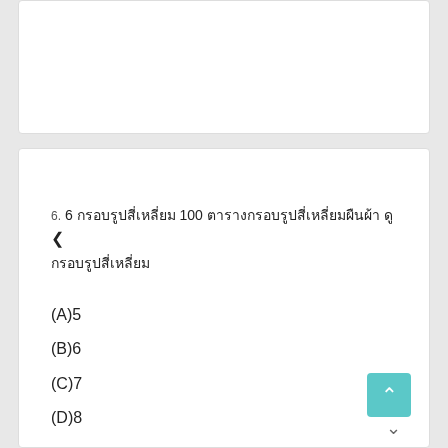6. 6 กรอบรูปสี่เหลี่ยม 100 ตารางกรอบรูปสี่เหลี่ยมผืนผ้า ดู กรอบรูปสี่เหลี่ยม
(A)5
(B)6
(C)7
(D)8